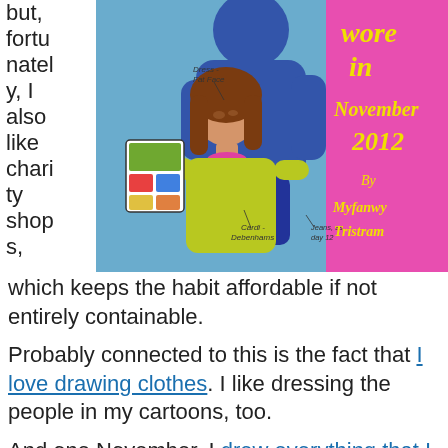but, fortunately, I also like charity shops,
[Figure (illustration): Book cover illustration: 'What I Wore in November 2012 By Myfanwy Tristram'. Shows a woman with brown hair in a yellow-green cardigan reading a comic book, with a blue figure behind her. Text labels: 'Dress - Fat Face', 'Cardi - Debenhams', 'Jeans, as day 12'. Pink background on the right half with yellow ornate text.]
which keeps the habit affordable if not entirely containable.
Probably connected to this is the fact that I love drawing clothes. I like dressing the people in my cartoons, too.
And one November, I drew everything that I and my